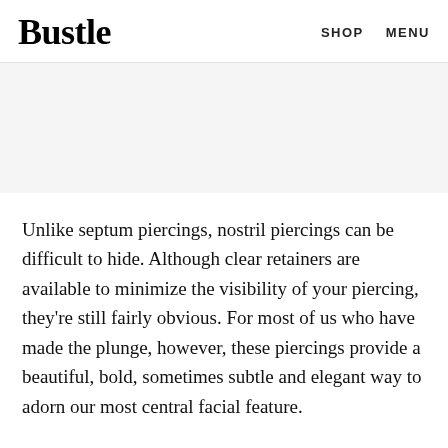Bustle  SHOP  MENU
[Figure (photo): Gray placeholder image area]
Unlike septum piercings, nostril piercings can be difficult to hide. Although clear retainers are available to minimize the visibility of your piercing, they're still fairly obvious. For most of us who have made the plunge, however, these piercings provide a beautiful, bold, sometimes subtle and elegant way to adorn our most central facial feature.